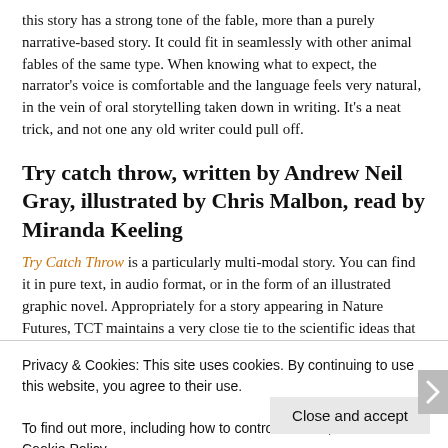this story has a strong tone of the fable, more than a purely narrative-based story. It could fit in seamlessly with other animal fables of the same type. When knowing what to expect, the narrator's voice is comfortable and the language feels very natural, in the vein of oral storytelling taken down in writing. It's a neat trick, and not one any old writer could pull off.
Try catch throw, written by Andrew Neil Gray, illustrated by Chris Malbon, read by Miranda Keeling
Try Catch Throw is a particularly multi-modal story. You can find it in pure text, in audio format, or in the form of an illustrated graphic novel. Appropriately for a story appearing in Nature Futures, TCT maintains a very close tie to the scientific ideas that inspired it. If the
Privacy & Cookies: This site uses cookies. By continuing to use this website, you agree to their use.
To find out more, including how to control cookies, see here: Cookie Policy
Close and accept
same page is easy. And free.